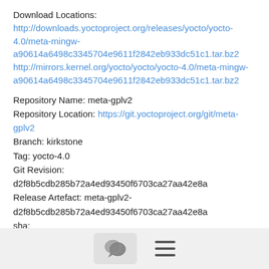Download Locations:
http://downloads.yoctoproject.org/releases/yocto/yocto-4.0/meta-mingw-a90614a6498c3345704e9611f2842eb933dc51c1.tar.bz2
http://mirrors.kernel.org/yocto/yocto/yocto-4.0/meta-mingw-a90614a6498c3345704e9611f2842eb933dc51c1.tar.bz2
Repository Name: meta-gplv2
Repository Location: https://git.yoctoproject.org/git/meta-gplv2
Branch: kirkstone
Tag: yocto-4.0
Git Revision: d2f8b5cdb285b72a4ed93450f6703ca27aa42e8a
Release Artefact: meta-gplv2-d2f8b5cdb285b72a4ed93450f6703ca27aa42e8a
sha:
c386f59f8a672747dc3d0be1d4234b6039273d0e57933eb87caa20f56b9cca6d
Download Locations:
http://downloads.yoctoproject.org/releases/yocto/yocto-4.0/meta-gplv2-d2f8b5cdb285b72a4ed93450f6703ca27aa42e8a.tar.bz2